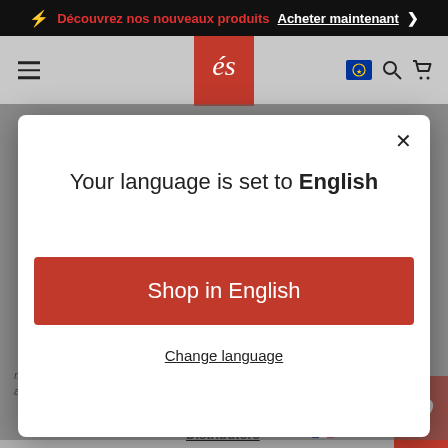⚡ Découvrez nos nouveaux produits  Acheter maintenant
[Figure (screenshot): Navigation bar with hamburger menu, éS brand logo in red square, EU flag icon, search icon, and cart icon]
Your language is set to English
Shop in English
Change language
meilleure expérience d'achat. En utilisant ce site, vous acceptez son utilisation des cookies.
MISCELLANEOUS
Je suis d'accord
Distributors
français